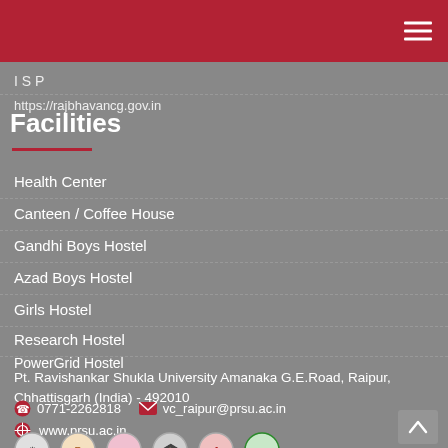ISP
https://rajbhavancg.gov.in
Facilities
Health Center
Canteen / Coffee House
Gandhi Boys Hostel
Azad Boys Hostel
Girls Hostel
Research Hostel
PowerGrid Hostel
Pt. Ravishankar Shukla University Amanaka G.E.Road, Raipur, Chhattisgarh (India) - 492010
0771-2262818   vc_raipur@prsu.ac.in
www.prsu.ac.in
[Figure (logo): Six university/organization logos at the bottom]